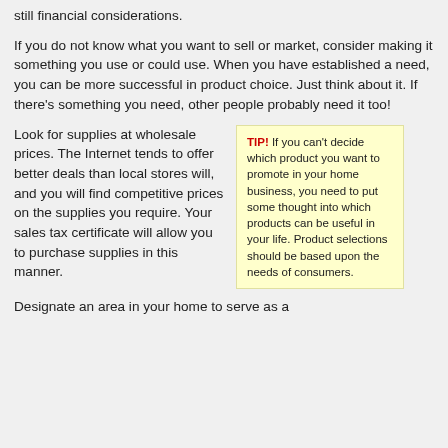still financial considerations.
If you do not know what you want to sell or market, consider making it something you use or could use. When you have established a need, you can be more successful in product choice. Just think about it. If there’s something you need, other people probably need it too!
Look for supplies at wholesale prices. The Internet tends to offer better deals than local stores will, and you will find competitive prices on the supplies you require. Your sales tax certificate will allow you to purchase supplies in this manner.
TIP! If you can't decide which product you want to promote in your home business, you need to put some thought into which products can be useful in your life. Product selections should be based upon the needs of consumers.
Designate an area in your home to serve as a